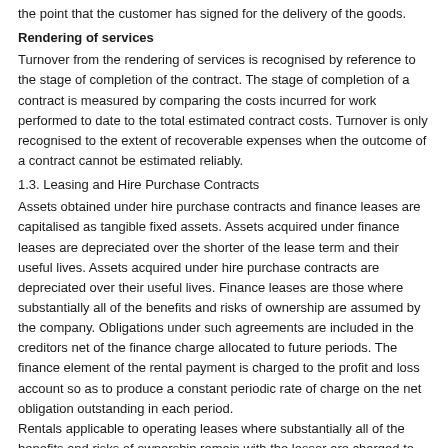the point that the customer has signed for the delivery of the goods.
Rendering of services
Turnover from the rendering of services is recognised by reference to the stage of completion of the contract. The stage of completion of a contract is measured by comparing the costs incurred for work performed to date to the total estimated contract costs. Turnover is only recognised to the extent of recoverable expenses when the outcome of a contract cannot be estimated reliably.
1.3. Leasing and Hire Purchase Contracts
Assets obtained under hire purchase contracts and finance leases are capitalised as tangible fixed assets. Assets acquired under finance leases are depreciated over the shorter of the lease term and their useful lives. Assets acquired under hire purchase contracts are depreciated over their useful lives. Finance leases are those where substantially all of the benefits and risks of ownership are assumed by the company. Obligations under such agreements are included in the creditors net of the finance charge allocated to future periods. The finance element of the rental payment is charged to the profit and loss account so as to produce a constant periodic rate of charge on the net obligation outstanding in each period.
Rentals applicable to operating leases where substantially all of the benefits and risks of ownership remain with the lessor are charged to profit and loss account as incurred.